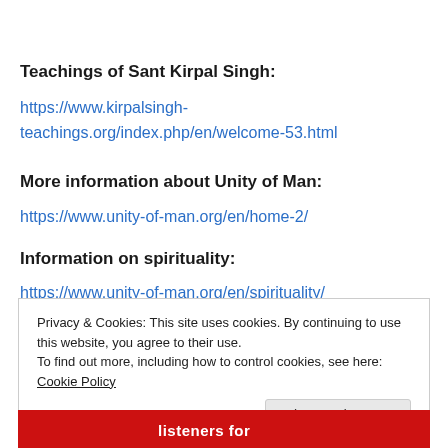Teachings of Sant Kirpal Singh:
https://www.kirpalsingh-teachings.org/index.php/en/welcome-53.html
More information about Unity of Man:
https://www.unity-of-man.org/en/home-2/
Information on spirituality:
https://www.unity-of-man.org/en/spirituality/
Privacy & Cookies: This site uses cookies. By continuing to use this website, you agree to their use. To find out more, including how to control cookies, see here: Cookie Policy
[Figure (screenshot): Red banner ad at the bottom with partial text 'listeners for']